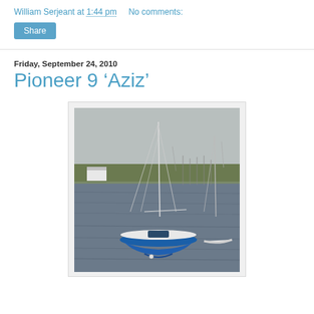William Serjeant at 1:44 pm   No comments:
Share
Friday, September 24, 2010
Pioneer 9 ‘Aziz’
[Figure (photo): A blue and white sailboat moored on calm water with a green shoreline, buildings, and other masts visible in the background under an overcast sky.]